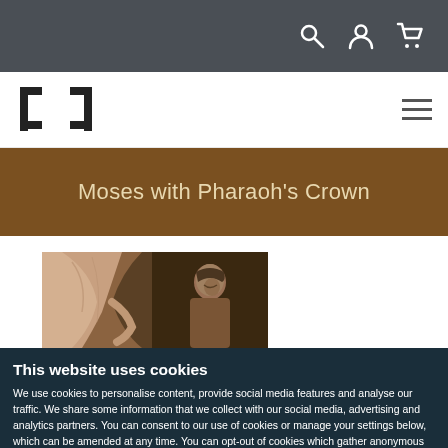Navigation bar with search, user, and cart icons
[Figure (logo): Museum/organization logo mark consisting of a square bracket-like geometric shape]
Moses with Pharaoh's Crown
[Figure (photo): Partial view of a classical painting showing figures with warm brown and pink tones, depicting Moses with Pharaoh's Crown]
This website uses cookies
We use cookies to personalise content, provide social media features and analyse our traffic. We share some information that we collect with our social media, advertising and analytics partners. You can consent to our use of cookies or manage your settings below, which can be amended at any time. You can opt-out of cookies which gather anonymous analytics data in your browser settings. Find out more about our use of cookies.
OK
Settings